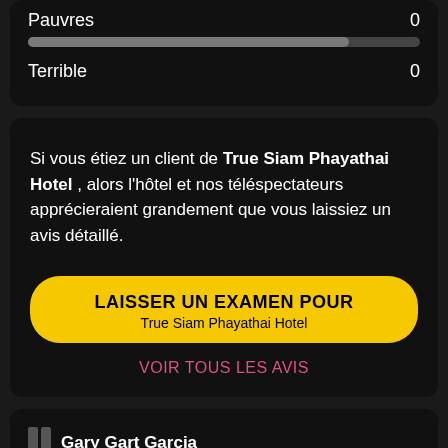Pauvres 0
Terrible 0
Si vous étiez un client de True Siam Phayathai Hotel , alors l'hôtel et nos téléspectateurs apprécieraient grandement que vous laissiez un avis détaillé.
LAISSER UN EXAMEN POUR
True Siam Phayathai Hotel
VOIR TOUS LES AVIS
Gary Gart Garcia